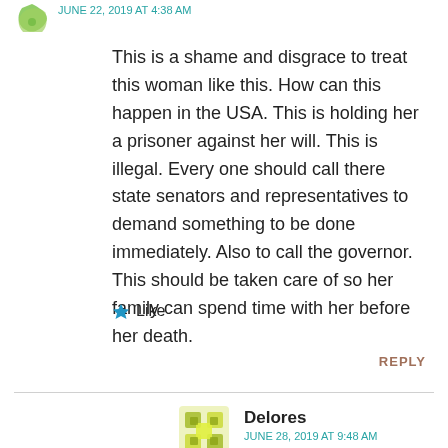[Figure (illustration): Green decorative avatar icon in top left]
June 22, 2019 at 4:38 AM (partial, cropped)
This is a shame and disgrace to treat this woman like this. How can this happen in the USA. This is holding her a prisoner against her will. This is illegal. Every one should call there state senators and representatives to demand something to be done immediately. Also to call the governor. This should be taken care of so her family can spend time with her before her death.
Like
REPLY
[Figure (illustration): Yellow-green decorative avatar icon for Delores]
Delores
JUNE 28, 2019 AT 9:48 AM